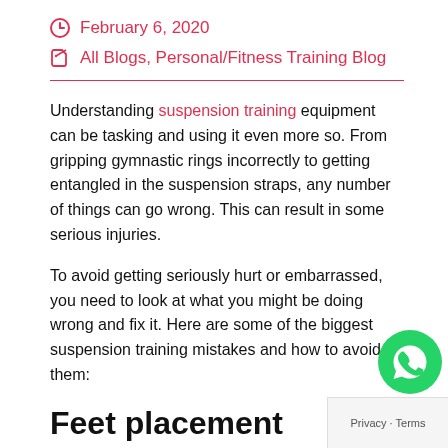February 6, 2020
All Blogs, Personal/Fitness Training Blog
Understanding suspension training equipment can be tasking and using it even more so. From gripping gymnastic rings incorrectly to getting entangled in the suspension straps, any number of things can go wrong. This can result in some serious injuries.
To avoid getting seriously hurt or embarrassed, you need to look at what you might be doing wrong and fix it. Here are some of the biggest suspension training mistakes and how to avoid them:
Feet placement
Where, as well as how, you place your feet plays a big role...